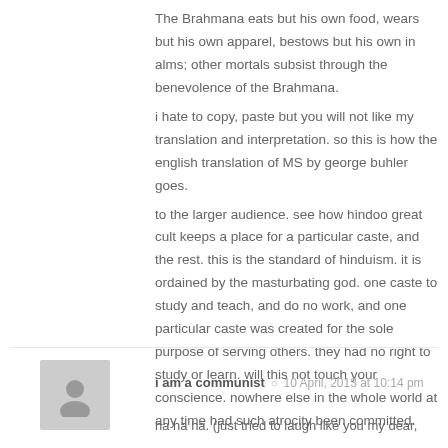The Brahmana eats but his own food, wears but his own apparel, bestows but his own in alms; other mortals subsist through the benevolence of the Brahmana.
i hate to copy, paste but you will not like my translation and interpretation. so this is how the english translation of MS by george buhler goes.
to the larger audience. see how hindoo great cult keeps a place for a particular caste, and the rest. this is the standard of hinduism. it is ordained by the masturbating god. one caste to study and teach, and do no work, and one particular caste was created for the sole purpose of serving others. they had no right to study or learn. will this not touch your conscience. nowhere else in the whole world at any time had such atrocity been committed.

kindly answer chuck.
i am a communist · 10 April, 2013 at 10:14 pm
ha ha ha. (just tried to laugh like you my dear, but you can be...